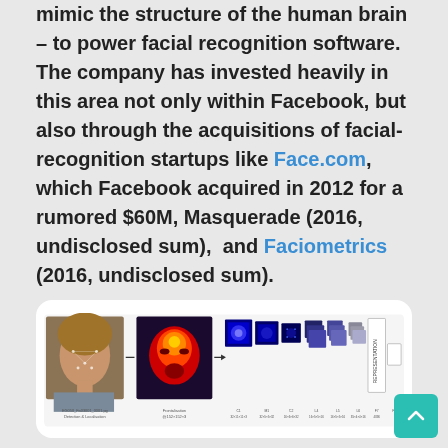mimic the structure of the human brain – to power facial recognition software. The company has invested heavily in this area not only within Facebook, but also through the acquisitions of facial-recognition startups like Face.com, which Facebook acquired in 2012 for a rumored $60M, Masquerade (2016, undisclosed sum),  and Faciometrics (2016, undisclosed sum).
[Figure (illustration): Diagram showing Facebook's facial recognition pipeline: from a photo of a woman with facial detection overlay, through frontalisation, then multiple neural network convolutional layers (C1 through FC layers) with heatmap visualisations, ending in a REPRESENTATION output layer. Layer dimensions are annotated beneath each stage.]
Image: Facebook's facial recognition (Huffington Post)
Facebook also uses AI to personalize your newsfeed and ensure you're seeing posts that interest you, as discussed in an Emerj interview with Facebook's Hussein Mehanna. And, of particular business interest to Facebook is showing ads that are relevant to your interests. Better targeted ads mean you're more likely to click them and buy something from